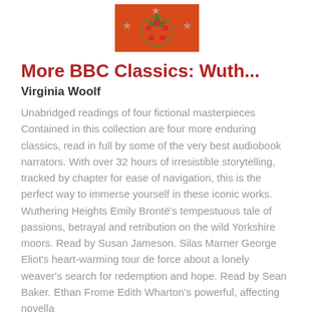[Figure (illustration): Book cover thumbnail on orange/red background with stars and decorative motifs]
More BBC Classics: Wuth...
Virginia Woolf
Unabridged readings of four fictional masterpieces Contained in this collection are four more enduring classics, read in full by some of the very best audiobook narrators. With over 32 hours of irresistible storytelling, tracked by chapter for ease of navigation, this is the perfect way to immerse yourself in these iconic works. Wuthering Heights Emily Brontë's tempestuous tale of passions, betrayal and retribution on the wild Yorkshire moors. Read by Susan Jameson. Silas Marner George Eliot's heart-warming tour de force about a lonely weaver's search for redemption and hope. Read by Sean Baker. Ethan Frome Edith Wharton's powerful, affecting novella